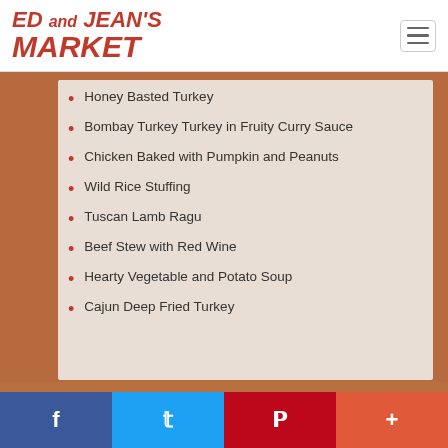ED and JEAN'S MARKET
Honey Basted Turkey
Bombay Turkey Turkey in Fruity Curry Sauce
Chicken Baked with Pumpkin and Peanuts
Wild Rice Stuffing
Tuscan Lamb Ragu
Beef Stew with Red Wine
Hearty Vegetable and Potato Soup
Cajun Deep Fried Turkey
PRODUCE COLOR
[Figure (other): Social share bar with Facebook, Twitter, Pinterest, and plus buttons]